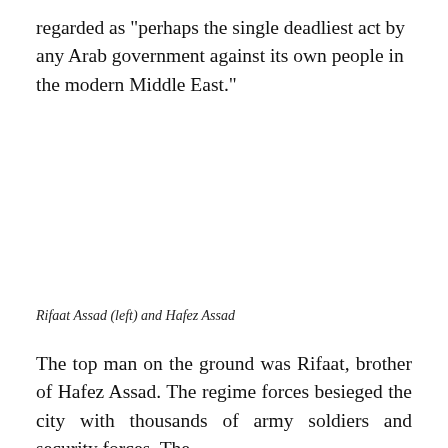regarded as “perhaps the single deadliest act by any Arab government against its own people in the modern Middle East.”
Rifaat Assad (left) and Hafez Assad
The top man on the ground was Rifaat, brother of Hafez Assad. The regime forces besieged the city with thousands of army soldiers and security forces. The